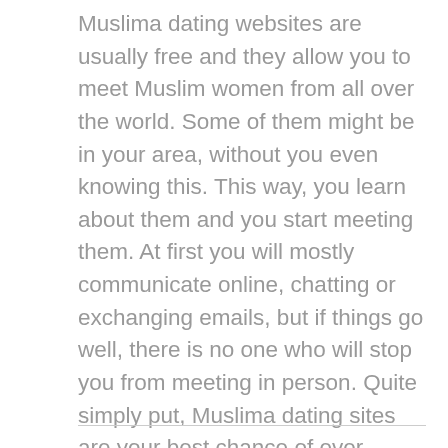Muslima dating websites are usually free and they allow you to meet Muslim women from all over the world. Some of them might be in your area, without you even knowing this. This way, you learn about them and you start meeting them. At first you will mostly communicate online, chatting or exchanging emails, but if things go well, there is no one who will stop you from meeting in person. Quite simply put, Muslima dating sites are your best chance of ever meeting an interesting Muslim woman and dating her.